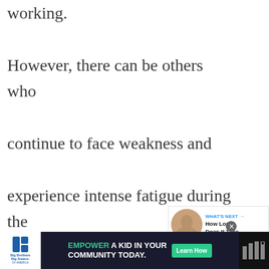working. However, there can be others who continue to face weakness and experience intense fatigue during the initial days. Their blood count levels may still be low. This is not an indication of the treatment not working. It may simply take longer to show results in
[Figure (other): Heart/like button (blue circle with heart icon) with count of 1, and share button below it]
[Figure (other): What's Next promotional box showing a circular thumbnail image and text 'How Long Does It Take...']
[Figure (other): Advertisement banner: Big Brothers Big Sisters logo on left, 'EMPOWER A KID IN YOUR COMMUNITY TODAY.' text with green Learn How button, close X button, and dark logo on right]